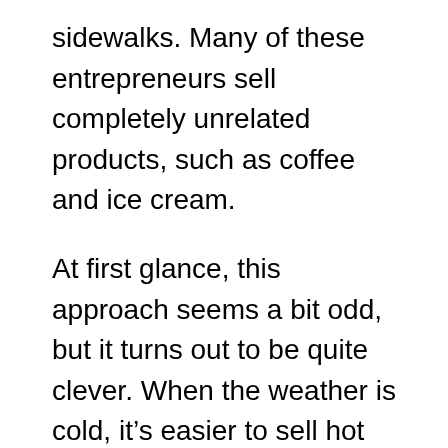sidewalks. Many of these entrepreneurs sell completely unrelated products, such as coffee and ice cream.
At first glance, this approach seems a bit odd, but it turns out to be quite clever. When the weather is cold, it’s easier to sell hot cups of coffee. When the weather is hot, it’s easier to sell ice cream. By selling both, vendors reduce the risk of losing money on any given day